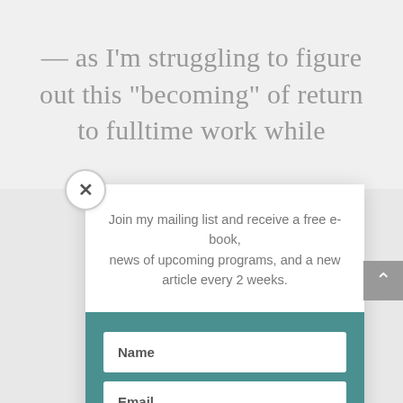— as I'm struggling to figure out this “becoming” of return to fulltime work while
Join my mailing list and receive a free e-book, news of upcoming programs, and a new article every 2 weeks.
Name
Email
Subscribe